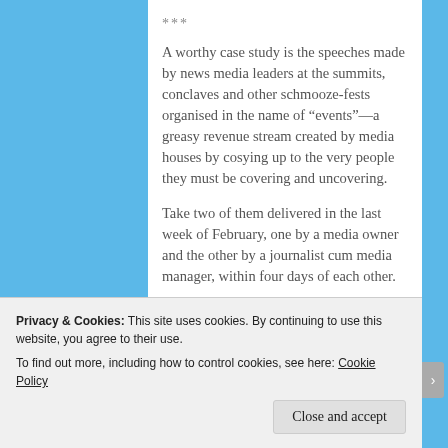***
A worthy case study is the speeches made by news media leaders at the summits, conclaves and other schmooze-fests organised in the name of “events”—a greasy revenue stream created by media houses by cosying up to the very people they must be covering and uncovering.
Take two of them delivered in the last week of February, one by a media owner and the other by a journalist cum media manager, within four days of each other.
Privacy & Cookies: This site uses cookies. By continuing to use this website, you agree to their use.
To find out more, including how to control cookies, see here: Cookie Policy